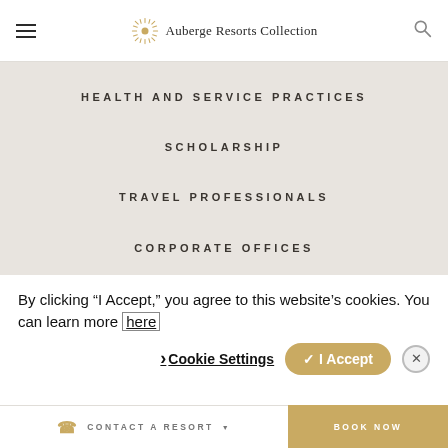Auberge Resorts Collection
HEALTH AND SERVICE PRACTICES
SCHOLARSHIP
TRAVEL PROFESSIONALS
CORPORATE OFFICES
AUBERGE RESORTS COLLECTION
By clicking “I Accept,” you agree to this website’s cookies. You can learn more here
Cookie Settings   ✓ I Accept